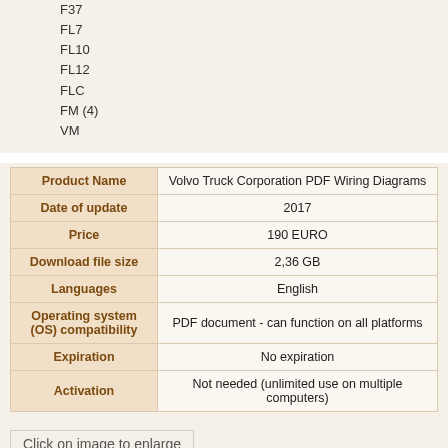F37
FL7
FL10
FL12
FLC
FM (4)
VM
| Property | Value |
| --- | --- |
| Product Name | Volvo Truck Corporation PDF Wiring Diagrams |
| Date of update | 2017 |
| Price | 190 EURO |
| Download file size | 2,36 GB |
| Languages | English |
| Operating system (OS) compatibility | PDF document - can function on all platforms |
| Expiration | No expiration |
| Activation | Not needed (unlimited use on multiple computers) |
Click on image to enlarge